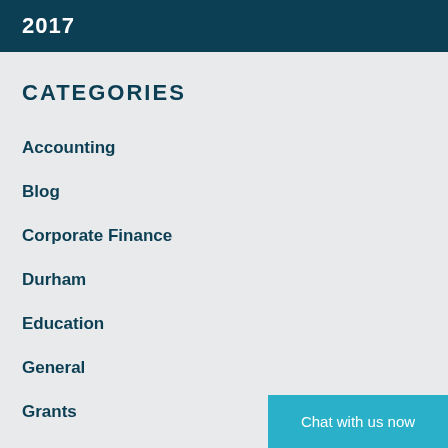2017
CATEGORIES
Accounting
Blog
Corporate Finance
Durham
Education
General
Grants
Chat with us now